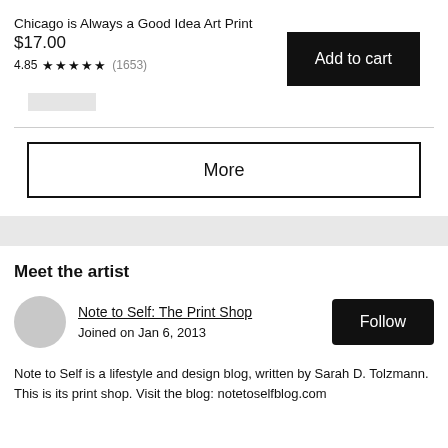Chicago is Always a Good Idea Art Print
$17.00
4.85 ★★★★★ (1653)
Add to cart
[Figure (other): Small thumbnail image placeholder]
More
Meet the artist
Note to Self: The Print Shop
Joined on Jan 6, 2013
Follow
Note to Self is a lifestyle and design blog, written by Sarah D. Tolzmann. This is its print shop. Visit the blog: notetoselfblog.com